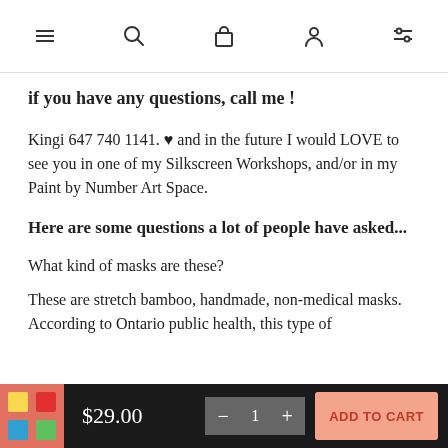Navigation bar with menu, search, bag, account, and filter icons
if you have any questions, call me !
Kingi 647 740 1141. ♥ and in the future I would LOVE to see you in one of my Silkscreen Workshops, and/or in my Paint by Number Art Space.
Here are some questions  a lot of people have asked...
What kind of masks are these?
These are stretch bamboo,  handmade, non-medical masks. According to Ontario public health, this type of
$29.00  − 1 +  ADD TO CART